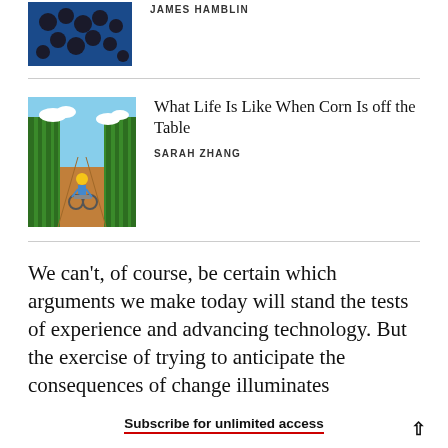[Figure (photo): Small thumbnail image of blueberries on a blue background (partially visible at top)]
JAMES HAMBLIN
[Figure (illustration): Illustration of a person in a wheelchair moving through rows of corn/crops]
What Life Is Like When Corn Is off the Table
SARAH ZHANG
We can’t, of course, be certain which arguments we make today will stand the tests of experience and advancing technology. But the exercise of trying to anticipate the consequences of change illuminates
Subscribe for unlimited access